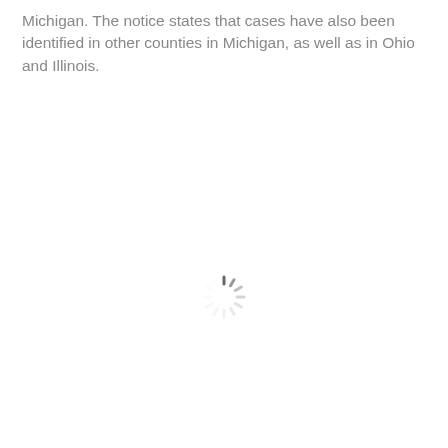Michigan. The notice states that cases have also been identified in other counties in Michigan, as well as in Ohio and Illinois.
[Figure (other): A loading spinner icon (animated spinner wheel) centered in the lower portion of the page, rendered in gray.]